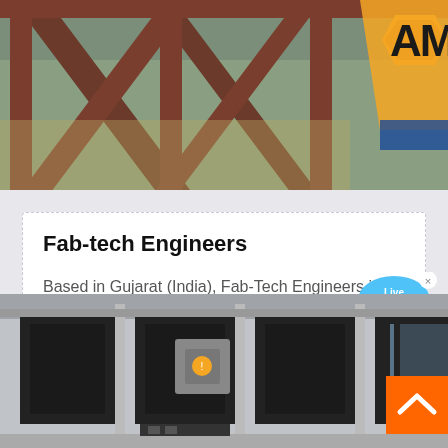[Figure (photo): Outdoor scene with wooden structure/pergola and red-orange AM logo partially visible in top-right corner]
Fab-tech Engineers
Based in Gujarat (India), Fab-Tech Engineers is an emerging business enterprise progressively moving ahead in the domain of Industrial…
[Figure (photo): Industrial cooling/ventilation units mounted on frames in a factory or industrial setting]